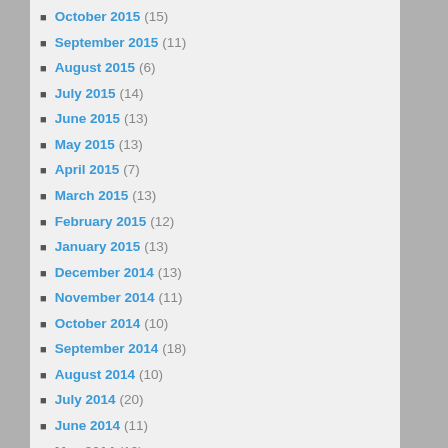October 2015 (15)
September 2015 (11)
August 2015 (6)
July 2015 (14)
June 2015 (13)
May 2015 (13)
April 2015 (7)
March 2015 (13)
February 2015 (12)
January 2015 (13)
December 2014 (13)
November 2014 (11)
October 2014 (10)
September 2014 (18)
August 2014 (10)
July 2014 (20)
June 2014 (11)
May 2014 (19)
April 2014 (21)
March 2014 (5)